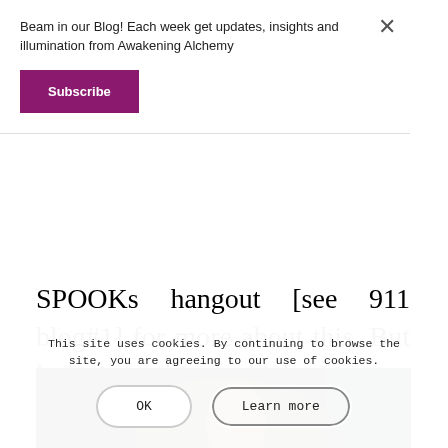Beam in our Blog! Each week get updates, insights and illumination from Awakening Alchemy
Subscribe
SPOOKs hangout [see 911 blog#1] for more about this. But knowing this, which for me came to light in around 2016, now it makes perfect sense WHY they took 7WTC down. What else was that building hid[ing?]
[Figure (photo): Partial bottom image of a person, cropped, dark background with golden and blue tones]
This site uses cookies. By continuing to browse the site, you are agreeing to our use of cookies.
OK
Learn more